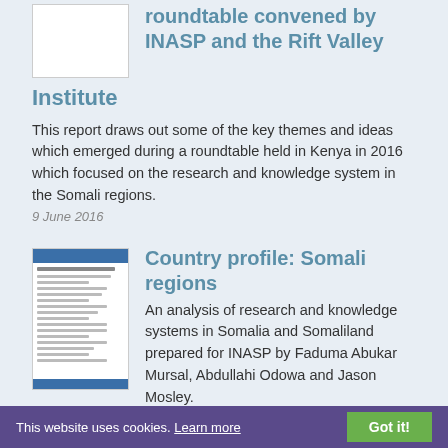roundtable convened by INASP and the Rift Valley Institute
This report draws out some of the key themes and ideas which emerged during a roundtable held in Kenya in 2016 which focused on the research and knowledge system in the Somali regions.
9 June 2016
[Figure (screenshot): Thumbnail image of a document page for Country profile: Somali regions]
Country profile: Somali regions
An analysis of research and knowledge systems in Somalia and Somaliland prepared for INASP by Faduma Abukar Mursal, Abdullahi Odowa and Jason Mosley.
3 April 2016
[Figure (screenshot): Thumbnail image of a document about scientific development]
Scientific development in
This website uses cookies. Learn more  Got it!